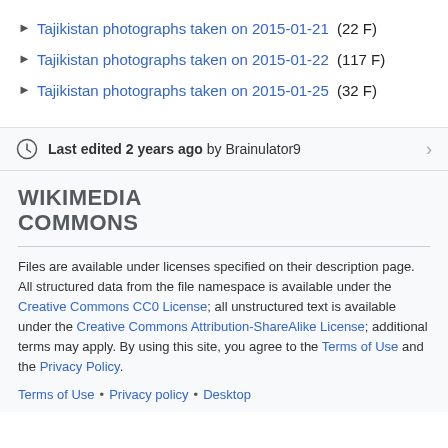► Tajikistan photographs taken on 2015-01-21 (22 F)
► Tajikistan photographs taken on 2015-01-22 (117 F)
► Tajikistan photographs taken on 2015-01-25 (32 F)
Last edited 2 years ago by Brainulator9
WIKIMEDIA COMMONS
Files are available under licenses specified on their description page. All structured data from the file namespace is available under the Creative Commons CC0 License; all unstructured text is available under the Creative Commons Attribution-ShareAlike License; additional terms may apply. By using this site, you agree to the Terms of Use and the Privacy Policy.
Terms of Use • Privacy policy • Desktop